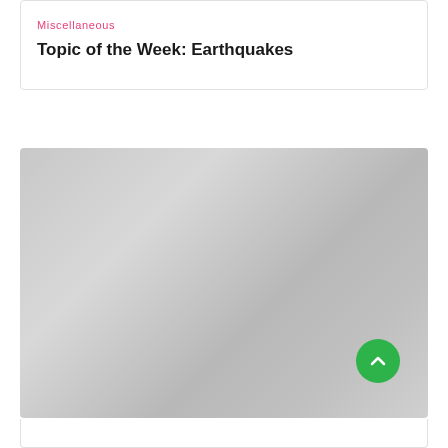Miscellaneous
Topic of the Week: Earthquakes
[Figure (photo): A full-width image placeholder with gradient grey tones, likely a photograph related to earthquakes. A green circular scroll-to-top button with an upward chevron arrow is overlaid in the bottom-right corner of the image.]